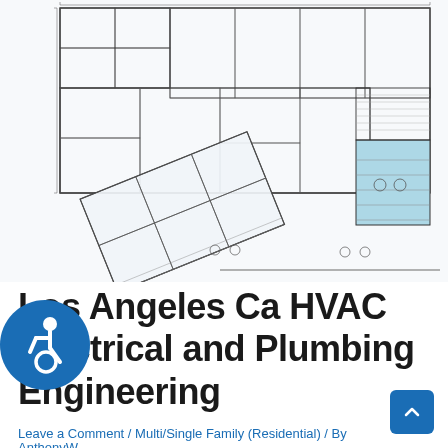[Figure (engineering-diagram): Architectural/engineering floor plan blueprint showing HVAC, electrical, and plumbing layout for a multi/single family residential building in Los Angeles, CA. The plan shows multiple rooms, ducts, pipes, dimensions, and annotations on a white background with blue highlight on stairwell area. A rotated partial floor plan overlaps at the lower left.]
Los Angeles Ca HVAC Electrical and Plumbing Engineering
Leave a Comment / Multi/Single Family (Residential) / By AnthonyW